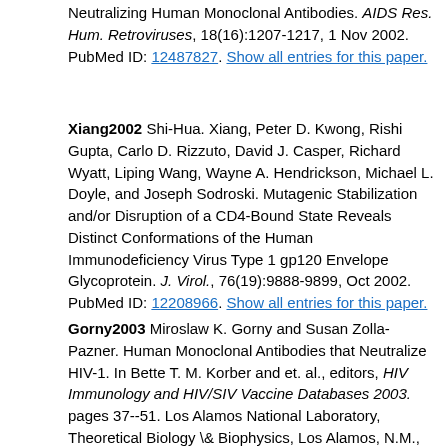Neutralizing Human Monoclonal Antibodies. AIDS Res. Hum. Retroviruses, 18(16):1207-1217, 1 Nov 2002. PubMed ID: 12487827. Show all entries for this paper.
Xiang2002 Shi-Hua. Xiang, Peter D. Kwong, Rishi Gupta, Carlo D. Rizzuto, David J. Casper, Richard Wyatt, Liping Wang, Wayne A. Hendrickson, Michael L. Doyle, and Joseph Sodroski. Mutagenic Stabilization and/or Disruption of a CD4-Bound State Reveals Distinct Conformations of the Human Immunodeficiency Virus Type 1 gp120 Envelope Glycoprotein. J. Virol., 76(19):9888-9899, Oct 2002. PubMed ID: 12208966. Show all entries for this paper.
Gorny2003 Miroslaw K. Gorny and Susan Zolla-Pazner. Human Monoclonal Antibodies that Neutralize HIV-1. In Bette T. M. Korber and et. al., editors, HIV Immunology and HIV/SIV Vaccine Databases 2003. pages 37--51. Los Alamos National Laboratory, Theoretical Biology \& Biophysics, Los Alamos, N.M., 2004. URL: http://www.hiv.lanl.gov/content/immunology/pdf/2003/zolla-